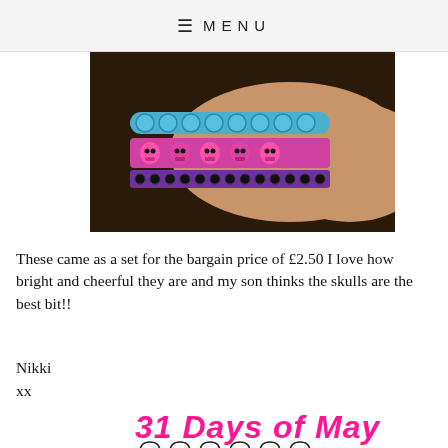≡ MENU
[Figure (photo): A wrist wearing colorful bracelets including a blue beaded bracelet and a pink/black skull-patterned bracelet stacked together]
These came as a set for the bargain price of £2.50 I love how bright and cheerful they are and my son thinks the skulls are the best bit!!
Nikki
xx
[Figure (illustration): Colorful illustrated image showing '31 Days of May' text in pink handwritten style above a clothing rack with colorful hanging garments]